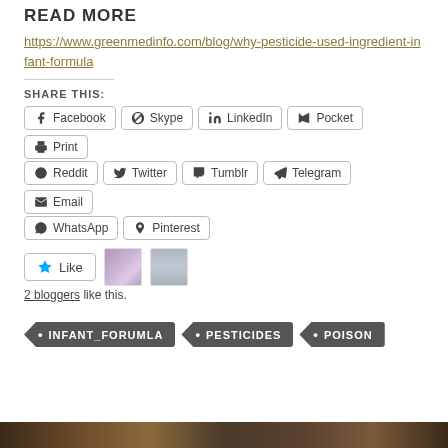READ MORE
https://www.greenmedinfo.com/blog/why-pesticide-used-ingredient-infant-formula
SHARE THIS:
Facebook Skype LinkedIn Pocket Print Reddit Twitter Tumblr Telegram Email WhatsApp Pinterest
Like
2 bloggers like this.
INFANT_FORUMLA
PESTICIDES
POISON